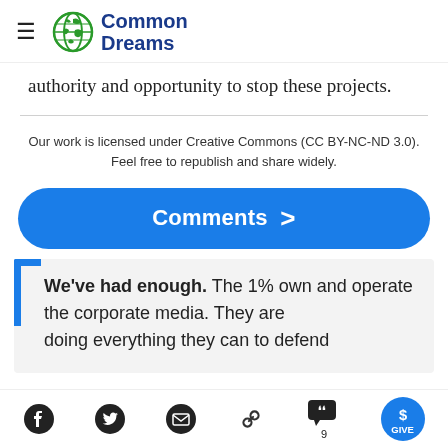Common Dreams
authority and opportunity to stop these projects.
Our work is licensed under Creative Commons (CC BY-NC-ND 3.0). Feel free to republish and share widely.
Comments >
We've had enough. The 1% own and operate the corporate media. They are doing everything they can to defend